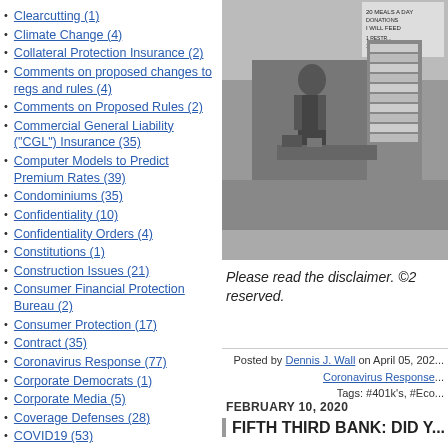Clearcutting (1)
Climate Change (4)
Collateral Protection Insurance (2)
Comments on proposed changes to regs and rules (4)
Comments on Proposed Rules (2)
Commercial General Liability ("CGL") Insurance (35)
Computer Models to Predict Premium Rates (39)
Condominiums (35)
Confidentiality (10)
Confidentiality Orders (4)
Constitutions (1)
Construction Issues (21)
Consumer Financial Protection Bureau (2)
Consumer Protection (17)
Contract (35)
Coronavirus Response (77)
Corporate Democrats (1)
Corporate Media (5)
Coverage Defenses (28)
COVID19 (53)
Credit Insurance (67)
[Figure (photo): Black and white photograph of a street vendor or newsstand with stacked publications and a sign reading 'I WILL FEED', people visible in scene]
Please read the disclaimer. ©2 reserved.
Posted by Dennis J. Wall on April 05, 202... Coronavirus Response... Tags: #401k's, #Eco...
FEBRUARY 10, 2020
FIFTH THIRD BANK: DID Y...